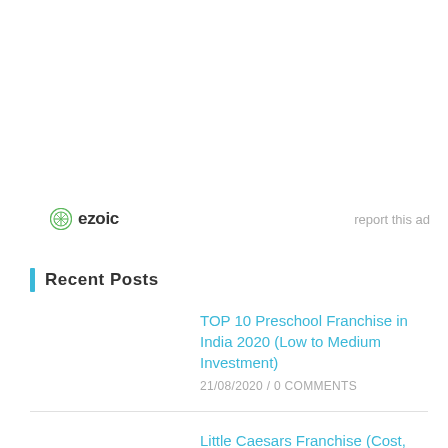[Figure (logo): Ezoic logo with green circular icon and bold text 'ezoic', with 'report this ad' text to the right]
Recent Posts
TOP 10 Preschool Franchise in India 2020 (Low to Medium Investment)
21/08/2020 / 0 COMMENTS
Little Caesars Franchise (Cost, Profit, Eligibility)
05/08/2020 / 0 COMMENTS